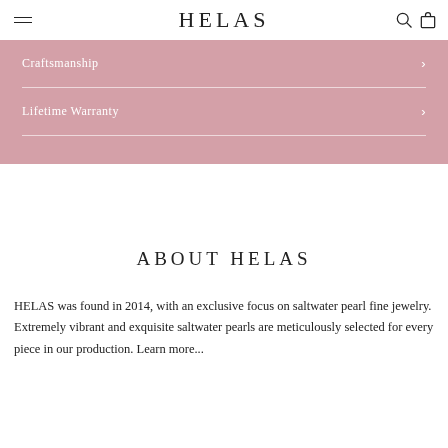HELAS
Craftsmanship
Lifetime Warranty
ABOUT HELAS
HELAS was found in 2014, with an exclusive focus on saltwater pearl fine jewelry. Extremely vibrant and exquisite saltwater pearls are meticulously selected for every piece in our production. Learn more...